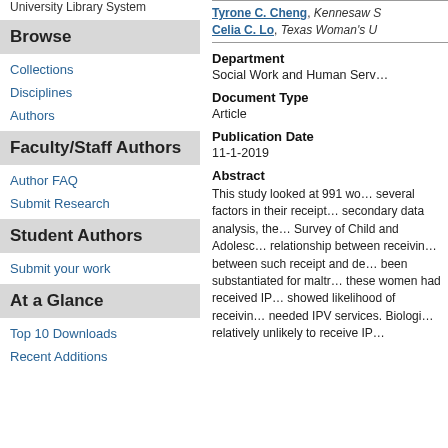University Library System
Browse
Collections
Disciplines
Authors
Faculty/Staff Authors
Author FAQ
Submit Research
Student Authors
Submit your work
At a Glance
Top 10 Downloads
Recent Additions
Tyrone C. Cheng, Kennesaw S…
Celia C. Lo, Texas Woman's U…
Department
Social Work and Human Serv…
Document Type
Article
Publication Date
11-1-2019
Abstract
This study looked at 991 wo… several factors in their receipt… secondary data analysis, the… Survey of Child and Adolesc… relationship between receivin… between such receipt and de… been substantiated for maltr… these women had received IP… showed likelihood of receivin… needed IPV services. Biologi… relatively unlikely to receive IP…